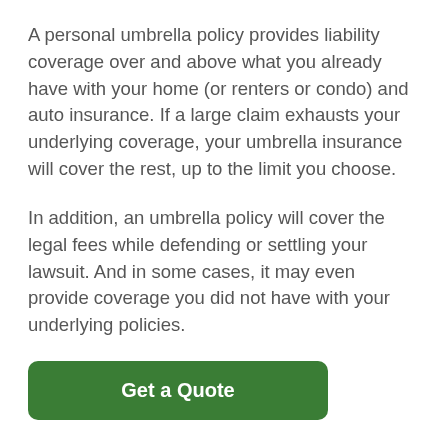A personal umbrella policy provides liability coverage over and above what you already have with your home (or renters or condo) and auto insurance. If a large claim exhausts your underlying coverage, your umbrella insurance will cover the rest, up to the limit you choose.
In addition, an umbrella policy will cover the legal fees while defending or settling your lawsuit. And in some cases, it may even provide coverage you did not have with your underlying policies.
Get a Quote